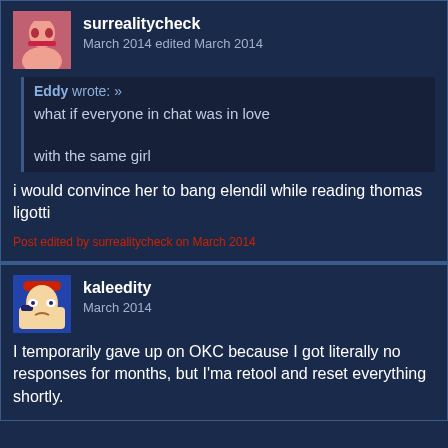surrealitycheck
March 2014 edited March 2014
Eddy wrote: »
what if everyone in chat was in love

with the same girl
i would convince her to bang elendil while reading thomas ligotti
Post edited by surrealitycheck on March 2014
kaleedity
March 2014
I temporarily gave up on OKC because I got literally no responses for months, but I'ma retool and reset everything shortly.